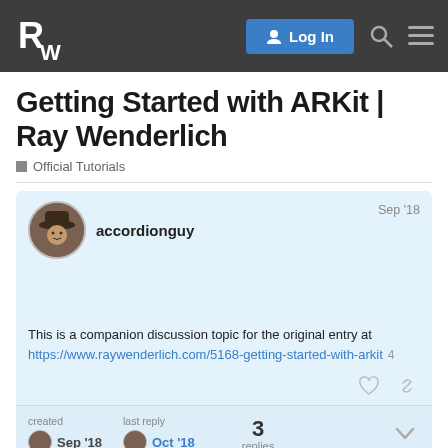Ray Wenderlich — Log In navigation bar
Getting Started with ARKit | Ray Wenderlich
Official Tutorials
accordionguy  Sep '18
This is a companion discussion topic for the original entry at
https://www.raywenderlich.com/5168-getting-started-with-arkit  4
created  Sep '18   last reply  Oct '18   3 replies